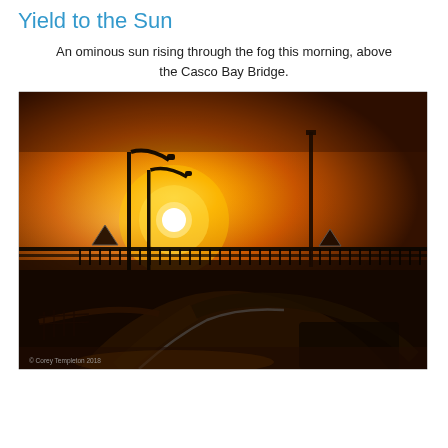Yield to the Sun
An ominous sun rising through the fog this morning, above the Casco Bay Bridge.
[Figure (photo): A sunrise or sunset photo over the Casco Bay Bridge in Portland, Maine. The sky is a deep orange-amber color with fog. Two large curved street lamps are visible in the foreground on the left, with tall vertical light poles further back. Bridge railing silhouettes run across the mid-ground. A winding road curves in the lower portion of the image. The sun appears as a bright white orb through the haze. Copyright text reads: © Corey Templeton 2018]
© Corey Templeton 2018